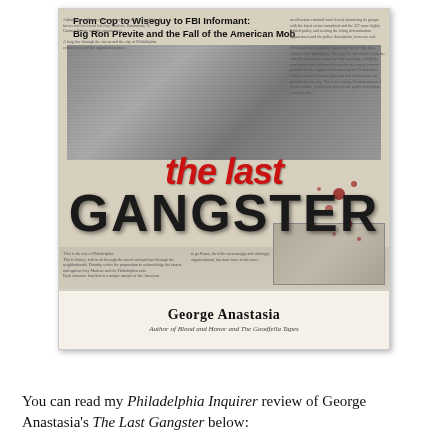[Figure (illustration): Book cover of 'The Last Gangster' by George Anastasia. Subtitle: 'From Cop to Wiseguy to FBI Informant: Big Ron Previte and the Fall of the American Mob'. Features a collage of newspaper clippings, black-and-white photographs of men, bold red italic 'the last' text overlaid on dark bold 'GANGSTER' title, blood splatter effects, and author name at the bottom.]
You can read my Philadelphia Inquirer review of George Anastasia's The Last Gangster below: